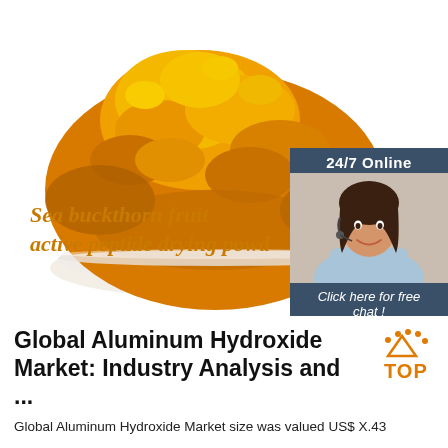[Figure (photo): Orange/yellow powder in a white bowl on white background — sea buckthorn fruit active peptide drying powder product image]
[Figure (infographic): 24/7 Online chat box overlay with headset-wearing woman agent and orange QUOTATION button]
Sea buckthorn fruit active peptide drying powd
Global Aluminum Hydroxide Market: Industry Analysis and ...
Global Aluminum Hydroxide Market size was valued US$ X.43